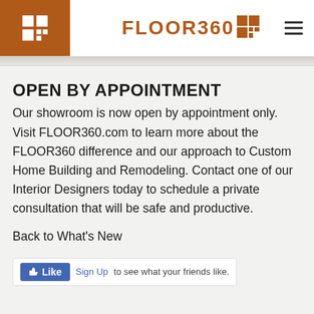[Figure (logo): Floor360 logo with brown square icon grid and wordmark FLOOR360 in orange-brown color]
OPEN BY APPOINTMENT
Our showroom is now open by appointment only. Visit FLOOR360.com to learn more about the FLOOR360 difference and our approach to Custom Home Building and Remodeling. Contact one of our Interior Designers today to schedule a private consultation that will be safe and productive.
Back to What's New
[Figure (screenshot): Facebook Like button with Sign Up link and text 'to see what your friends like.']